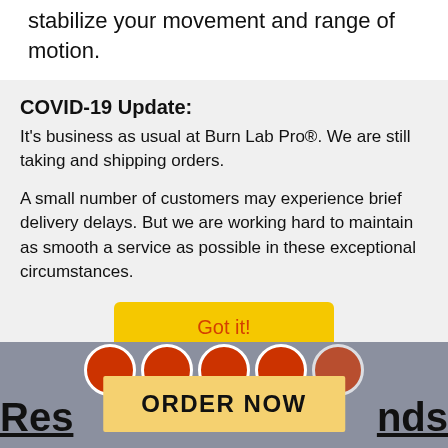stabilize your movement and range of motion.
COVID-19 Update:
It's business as usual at Burn Lab Pro®. We are still taking and shipping orders.
A small number of customers may experience brief delivery delays. But we are working hard to maintain as smooth a service as possible in these exceptional circumstances.
Got it!
something a little extra that free weights don't. Let's explore!
What Are
Res nds
ORDER NOW